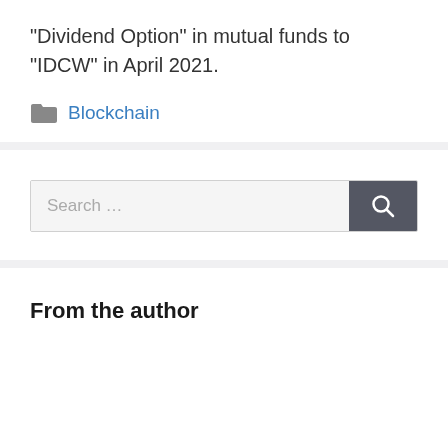“Dividend Option” in mutual funds to “IDCW” in April 2021.
Blockchain
[Figure (other): Search bar with text input field showing placeholder 'Search ...' and a dark grey search button with magnifying glass icon]
From the author